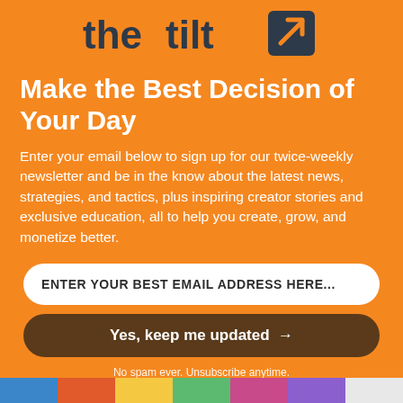[Figure (logo): The Tilt logo — 'the tilt' text with an arrow icon, dark navy/charcoal color on orange background]
Make the Best Decision of Your Day
Enter your email below to sign up for our twice-weekly newsletter and be in the know about the latest news, strategies, and tactics, plus inspiring creator stories and exclusive education, all to help you create, grow, and monetize better.
ENTER YOUR BEST EMAIL ADDRESS HERE...
Yes, keep me updated →
No spam ever. Unsubscribe anytime.